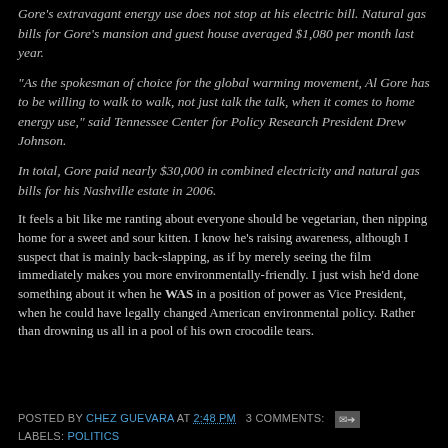Gore's extravagant energy use does not stop at his electric bill. Natural gas bills for Gore's mansion and guest house averaged $1,080 per month last year.
“As the spokesman of choice for the global warming movement, Al Gore has to be willing to walk to walk, not just talk the talk, when it comes to home energy use,” said Tennessee Center for Policy Research President Drew Johnson.
In total, Gore paid nearly $30,000 in combined electricity and natural gas bills for his Nashville estate in 2006.
It feels a bit like me ranting about everyone should be vegetarian, then nipping home for a sweet and sour kitten. I know he's raising awareness, although I suspect that is mainly back-slapping, as if by merely seeing the film immediately makes you more environmentally-friendly. I just wish he'd done something about it when he WAS in a position of power as Vice President, when he could have legally changed American environmental policy. Rather than drowning us all in a pool of his own crocodile tears.
POSTED BY CHEZ GUEVARA AT 2:48 PM  3 COMMENTS:  [email icon]
LABELS: POLITICS